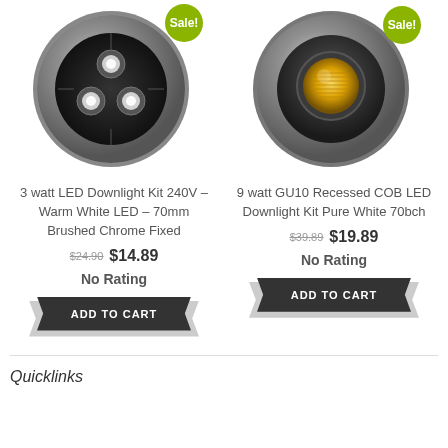[Figure (photo): 3 watt LED Downlight circular fixture with three LED bulbs, brushed chrome finish, with Sale badge]
3 watt LED Downlight Kit 240V – Warm White LED – 70mm Brushed Chrome Fixed
$24.90 $14.89
No Rating
ADD TO CART
[Figure (photo): 9 watt GU10 Recessed COB LED Downlight circular fixture with single COB LED, brushed chrome finish, with Sale badge]
9 watt GU10 Recessed COB LED Downlight Kit Pure White 70bch
$39.89 $19.89
No Rating
ADD TO CART
Quicklinks